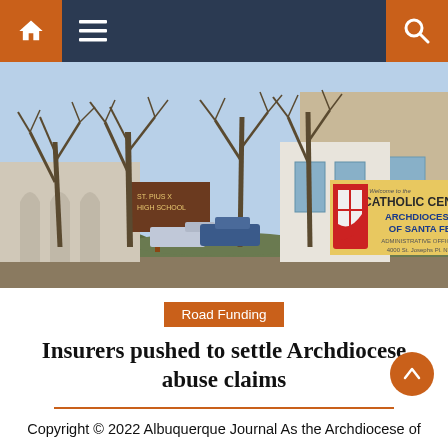Navigation bar with home, menu, and search icons
[Figure (photo): Outdoor photo of the Catholic Center Archdiocese of Santa Fe building with bare winter trees in the foreground and a large sign reading 'Welcome to the CATHOLIC CENTER ARCHDIOCESE OF SANTA FE ADMINISTRATIVE OFFICES 4000 St. Josephs Pl. NW']
Road Funding
Insurers pushed to settle Archdiocese abuse claims
Copyright © 2022 Albuquerque Journal As the Archdiocese of